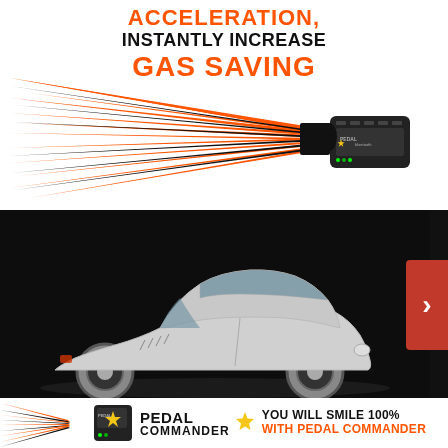ACCELERATION, INSTANTLY INCREASE GAS SAVING
[Figure (illustration): Product illustration of Pedal Commander device with orange and black speed/acceleration graphic lines radiating outward from the device to the left]
[Figure (photo): Side view of a white/silver classic sports car on a dark background]
[Figure (illustration): Banner strip at bottom with Pedal Commander logo, device image, star icon, and text YOU WILL SMILE 100% WITH PEDAL COMMANDER]